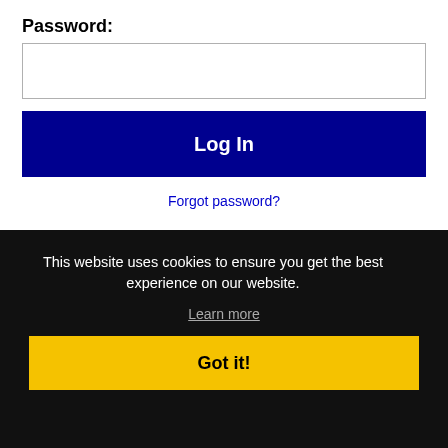Password:
[Figure (screenshot): Password input field (empty text box)]
[Figure (screenshot): Log In button (dark navy blue background, white bold text)]
Forgot password?
[Figure (logo): Facebook logo icon and LinkedIn logo icon side by side]
AL on
This website uses cookies to ensure you get the best experience on our website.
Learn more
Got it!